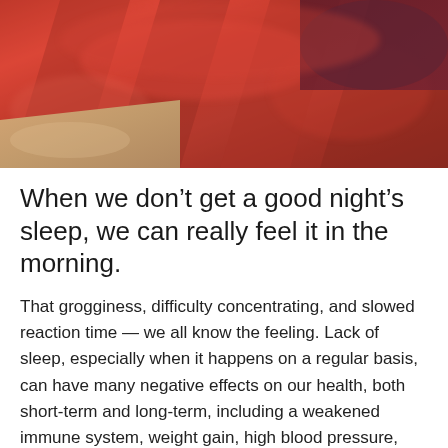[Figure (photo): Close-up photo of a red/crimson plaid bed with rumpled blanket and pillow, with a wooden nightstand visible at the bottom left. The image has a warm, blurred, intimate feel.]
When we don’t get a good night’s sleep, we can really feel it in the morning.
That grogginess, difficulty concentrating, and slowed reaction time — we all know the feeling. Lack of sleep, especially when it happens on a regular basis, can have many negative effects on our health, both short-term and long-term, including a weakened immune system, weight gain, high blood pressure, mood changes, and memory issues. It also affects the